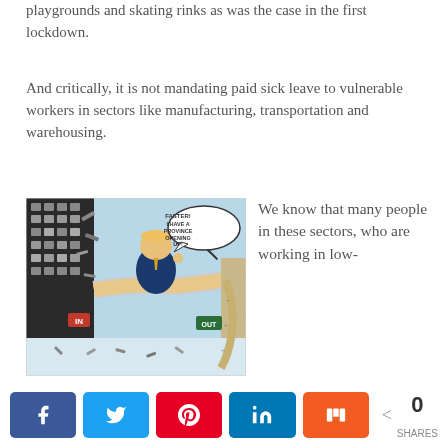playgrounds and skating rinks as was the case in the first lockdown.
And critically, it is not mandating paid sick leave to vulnerable workers in sectors like manufacturing, transportation and warehousing.
[Figure (illustration): Political cartoon showing a large man in a suit cracking a whip, standing on people forming a human bridge, with a speech bubble saying 'FASTER! I HAVE A PROVINCE OPENING UP!' There are construction materials, nails, and debris around. Signs read 'IN' and 'OUT'.]
We know that many people in these sectors, who are working in low-
Share buttons: Facebook, Twitter, Pinterest, LinkedIn, Mix. 0 SHARES